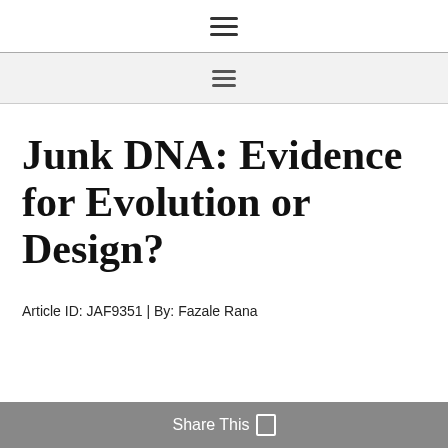≡
≡
Junk DNA: Evidence for Evolution or Design?
Article ID: JAF9351 | By: Fazale Rana
Share This